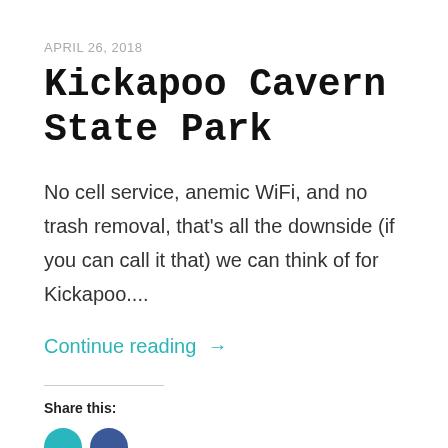APRIL 26, 2018
Kickapoo Cavern State Park
No cell service, anemic WiFi, and no trash removal, that's all the downside (if you can call it that) we can think of for Kickapoo....
Continue reading →
Share this: